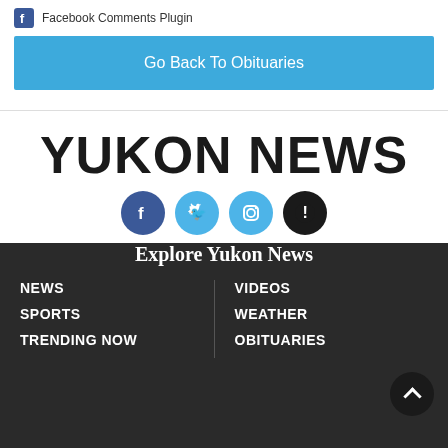Facebook Comments Plugin
Go Back To Obituaries
[Figure (logo): Yukon News logo with social media icons: Facebook, Twitter, Instagram, and alert/notification icon]
Explore Yukon News
NEWS
SPORTS
TRENDING NOW
VIDEOS
WEATHER
OBITUARIES